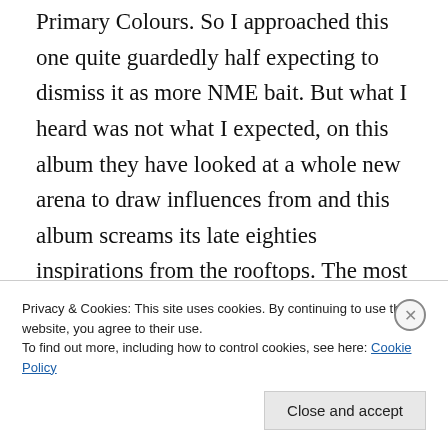Primary Colours. So I approached this one quite guardedly half expecting to dismiss it as more NME bait. But what I heard was not what I expected, on this album they have looked at a whole new arena to draw influences from and this album screams its late eighties inspirations from the rooftops. The most common comparison seems to be early Simple Minds which I can certainly hear, especially in tracks such as “Still Life”, however I can also hear echoes of The Chameleons and Echo and the Bunnymen. Not an album that will sit as a classic in years to come due to the
Privacy & Cookies: This site uses cookies. By continuing to use this website, you agree to their use.
To find out more, including how to control cookies, see here: Cookie Policy
Close and accept